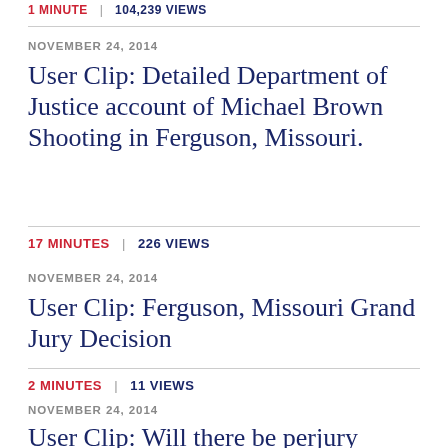1 MINUTE | 104,239 VIEWS
NOVEMBER 24, 2014
User Clip: Detailed Department of Justice account of Michael Brown Shooting in Ferguson, Missouri.
17 MINUTES | 226 VIEWS
NOVEMBER 24, 2014
User Clip: Ferguson, Missouri Grand Jury Decision
2 MINUTES | 11 VIEWS
NOVEMBER 24, 2014
User Clip: Will there be perjury charges
2 MINUTES | 11 VIEWS